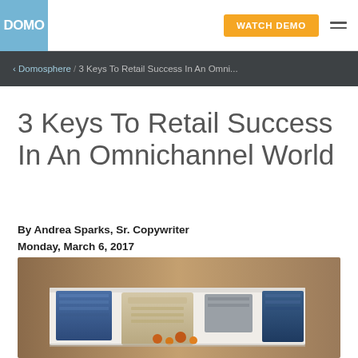DOMO | WATCH DEMO
‹ Domosphere / 3 Keys To Retail Success In An Omni...
3 Keys To Retail Success In An Omnichannel World
By Andrea Sparks, Sr. Copywriter
Monday, March 6, 2017
[Figure (photo): Overhead view of a retail clothing display table with folded jeans, sweaters, accessories, and other garments arranged on a white surface in a store.]